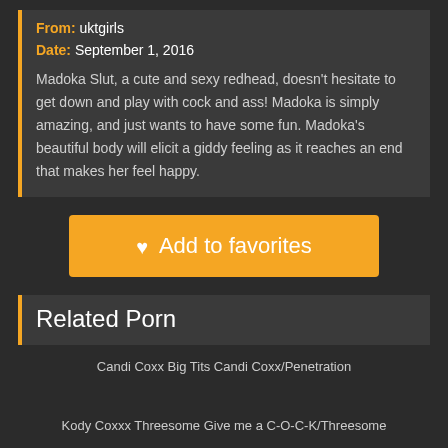From: uktgirls
Date: September 1, 2016
Madoka Slut, a cute and sexy redhead, doesn't hesitate to get down and play with cock and ass! Madoka is simply amazing, and just wants to have some fun. Madoka's beautiful body will elicit a giddy feeling as it reaches an end that makes her feel happy.
♥ Add to favorites
Related Porn
Candi Coxx Big Tits Candi Coxx/Penetration
Kody Coxxx Threesome Give me a C-O-C-K/Threesome